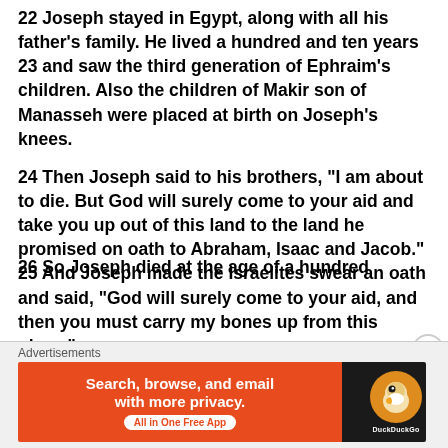22 Joseph stayed in Egypt, along with all his father's family. He lived a hundred and ten years 23 and saw the third generation of Ephraim's children. Also the children of Makir son of Manasseh were placed at birth on Joseph's knees.
24 Then Joseph said to his brothers, "I am about to die. But God will surely come to your aid and take you up out of this land to the land he promised on oath to Abraham, Isaac and Jacob." 25 And Joseph made the Israelites swear an oath and said, "God will surely come to your aid, and then you must carry my bones up from this place."
26 So Joseph died...
Advertisements
[Figure (infographic): DuckDuckGo advertisement banner: orange left section with text 'Search, browse, and email with more privacy. All in One Free App' and dark right section with DuckDuckGo duck logo.]